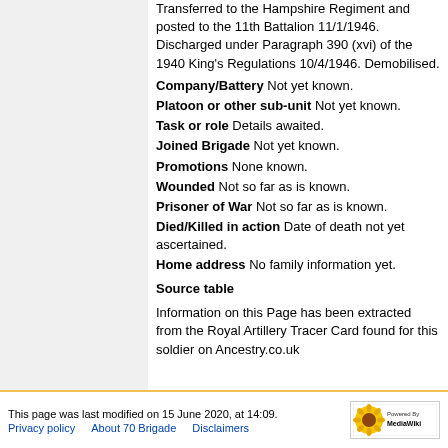Transferred to the Hampshire Regiment and posted to the 11th Battalion 11/1/1946. Discharged under Paragraph 390 (xvi) of the 1940 King's Regulations 10/4/1946. Demobilised.
Company/Battery Not yet known.
Platoon or other sub-unit Not yet known.
Task or role Details awaited.
Joined Brigade Not yet known.
Promotions None known.
Wounded Not so far as is known.
Prisoner of War Not so far as is known.
Died/Killed in action Date of death not yet ascertained.
Home address No family information yet.
Source table
Information on this Page has been extracted from the Royal Artillery Tracer Card found for this soldier on Ancestry.co.uk
This page was last modified on 15 June 2020, at 14:09. Privacy policy  About 70 Brigade  Disclaimers